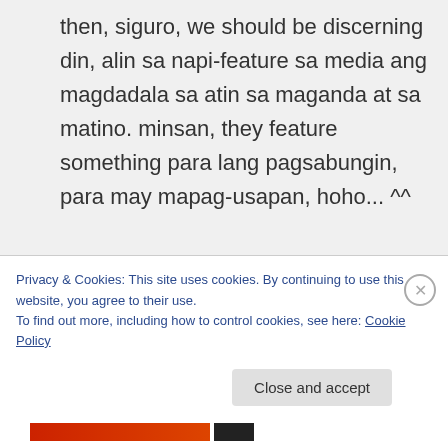then, siguro, we should be discerning din, alin sa napi-feature sa media ang magdadala sa atin sa maganda at sa matino. minsan, they feature something para lang pagsabungin, para may mapag-usapan, hoho... ^^

hihi, alam ko yown. payatas, dadaan muna ng payatas bago masilayan ang kariktan ng munting
Privacy & Cookies: This site uses cookies. By continuing to use this website, you agree to their use.
To find out more, including how to control cookies, see here: Cookie Policy
Close and accept